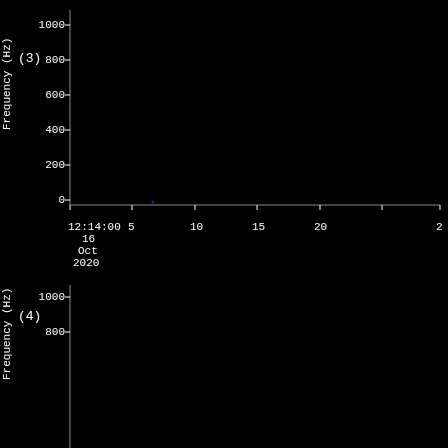[Figure (continuous-plot): Spectrogram panel (3): Frequency (Hz) vs time axis. Y-axis from 0 to 1000 Hz, X-axis showing time starting at 12:14:00, 16 Oct 2020, extending to ~25 seconds. Nearly empty black spectrogram with a faint blue dot near t=7s, f=0 Hz.]
[Figure (continuous-plot): Spectrogram panel (4): Frequency (Hz) vs time. Y-axis showing 800 and 1000 visible, nearly empty black spectrogram. Partial panel cut at bottom.]